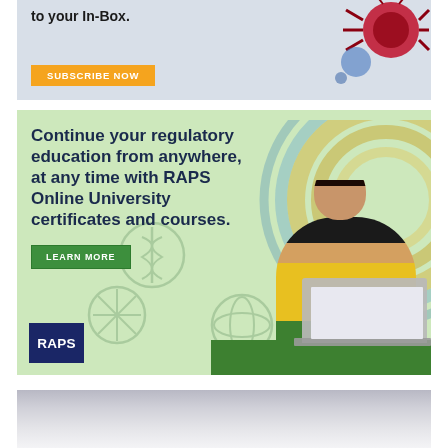[Figure (illustration): Top partial advertisement banner with light blue-gray background, text 'to your In-Box.' and orange 'SUBSCRIBE NOW' button, with decorative graphic elements on the right side.]
[Figure (illustration): RAPS Online University advertisement on light green background. Large dark blue bold text reads: 'Continue your regulatory education from anywhere, at any time with RAPS Online University certificates and courses.' Green 'LEARN MORE' button. Right side shows a woman in yellow top working on a laptop with decorative concentric circles and science/medical icons. RAPS logo (white text on navy blue square) at bottom left.]
[Figure (illustration): Bottom partial advertisement banner with light gray gradient background, partially visible.]